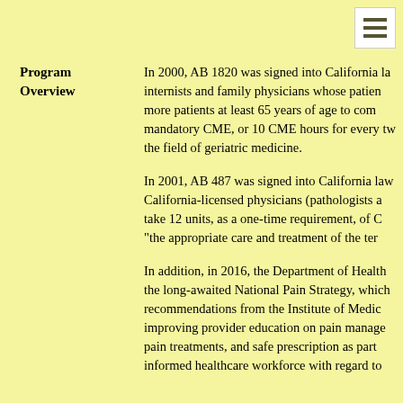Program Overview
In 2000, AB 1820 was signed into California la... internists and family physicians whose patien... more patients at least 65 years of age to com... mandatory CME, or 10 CME hours for every tw... the field of geriatric medicine.
In 2001, AB 487 was signed into California law... California-licensed physicians (pathologists a... take 12 units, as a one-time requirement, of C... "the appropriate care and treatment of the ter...
In addition, in 2016, the Department of Health... the long-awaited National Pain Strategy, which... recommendations from the Institute of Medic... improving provider education on pain manage... pain treatments, and safe prescription as part... informed healthcare workforce with regard to...